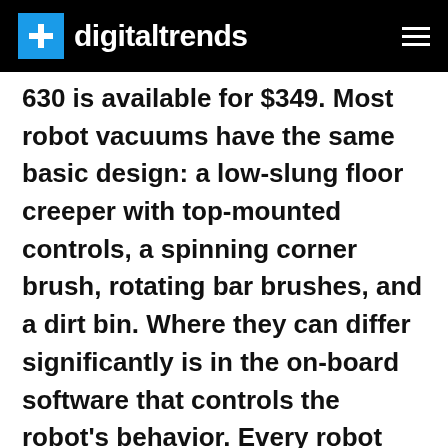digitaltrends
630 is available for $349. Most robot vacuums have the same basic design: a low-slung floor creeper with top-mounted controls, a spinning corner brush, rotating bar brushes, and a dirt bin. Where they can differ significantly is in the on-board software that controls the robot's behavior. Every robot vacuum uses some combination of smart room-mapping, wall-running, spiral patterns, and random directions to get its job done, and figuring